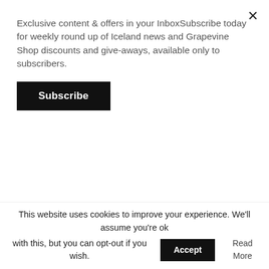Exclusive content & offers in your InboxSubscribe today for weekly round up of Iceland news and Grapevine Shop discounts and give-aways, available only to subscribers.
Subscribe
billed monthly
2 give away memberships
Help our work!
Ad-free browsing
Get new issue of Grapevine in email
Extra special offer on print subscriptions
Double discount code in our shop
This website uses cookies to improve your experience. We'll assume you're ok with this, but you can opt-out if you wish. Accept Read More